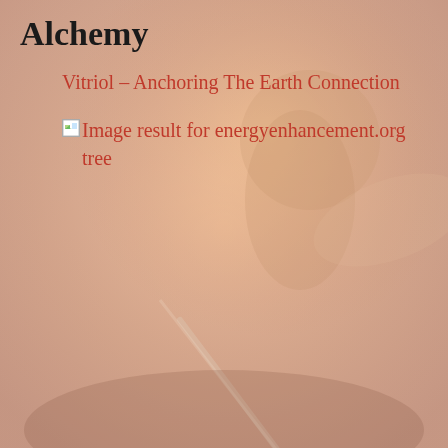Alchemy
Vitriol – Anchoring The Earth Connection
[Figure (illustration): Broken image placeholder labeled 'Image result for energyenhancement.org tree', overlaid on a fantasy warrior background illustration with a glowing armored female figure holding a sword, warm reddish-orange tones]
Image result for energyenhancement.org tree